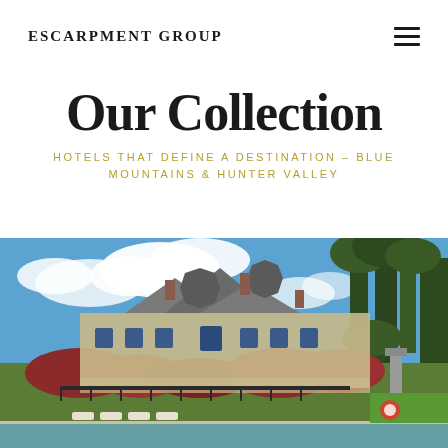ESCARPMENT GROUP
Our Collection
HOTELS THAT DEFINE A DESTINATION – BLUE MOUNTAINS & HUNTER VALLEY
[Figure (photo): Exterior of a heritage hotel building with turret-style architecture, surrounded by large trees, viewed from the pool/garden area. Blue sky with white clouds overhead.]